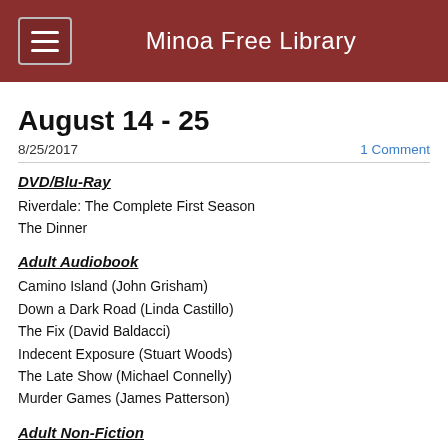Minoa Free Library
August 14 - 25
8/25/2017
1 Comment
DVD/Blu-Ray
Riverdale: The Complete First Season
The Dinner
Adult Audiobook
Camino Island (John Grisham)
Down a Dark Road (Linda Castillo)
The Fix (David Baldacci)
Indecent Exposure (Stuart Woods)
The Late Show (Michael Connelly)
Murder Games (James Patterson)
Adult Non-Fiction
Fast and Fresh: Quick Recipes for Busy Lives (641.555 Louise Pickford)